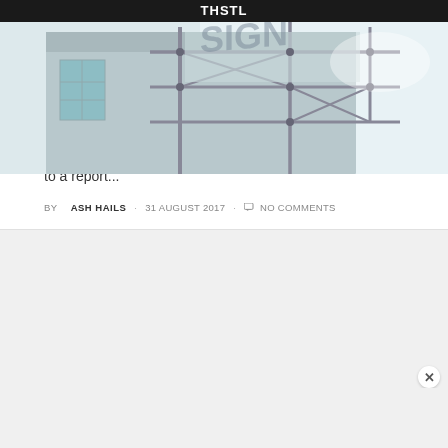THSTL
[Figure (photo): Upward angle photo of a building exterior with metal scaffolding/signage structure against a light sky background]
CHAMPIONSHIP, LATEST NEWS, LEEDS UNITED, TRANSFERS
Leeds reportedly interested in Montpellier defender
Sky Bet Championship side Leeds United are interested in signing Montpellier defender William Remy, according to a report...
BY ASH HAILS · 31 AUGUST 2017 · NO COMMENTS